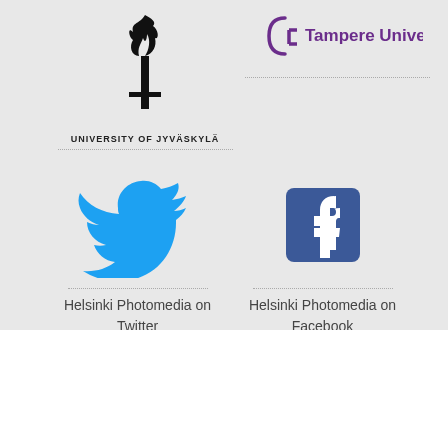[Figure (logo): University of Jyväskylä torch logo with text UNIVERSITY OF JYVÄSKYLÄ]
[Figure (logo): Tampere University logo with purple text]
[Figure (logo): Twitter bird icon in blue - Helsinki Photomedia on Twitter]
Helsinki Photomedia on Twitter
[Figure (logo): Facebook logo icon in blue - Helsinki Photomedia on Facebook]
Helsinki Photomedia on Facebook